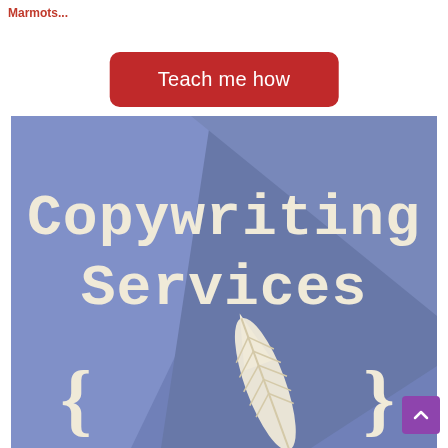Marmots...
Teach me how
[Figure (illustration): Copywriting Services promotional image with blue/purple geometric background, large white serif text reading 'Copywriting Services', a white quill feather in the center bottom, and white curly braces on either side.]